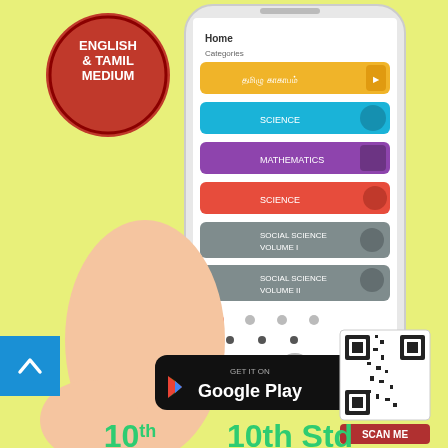[Figure (screenshot): Educational app advertisement showing a smartphone held in hand displaying subject menu (Tamil, Science, Mathematics, Science, Social Science Volume I, Social Science Volume II). Yellow-green background with 'English & Tamil Medium' red badge top left, Google Play download button, QR code with 'Scan Me' label, and '10th Std' text at bottom. Blue back-to-top button in bottom-left corner.]